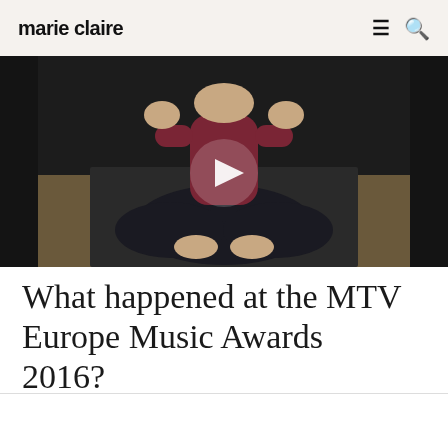marie claire
[Figure (screenshot): Video thumbnail showing a person sitting cross-legged in yoga pose wearing dark pants and a dark red/maroon top, with a play button overlay in the center]
What happened at the MTV Europe Music Awards 2016?